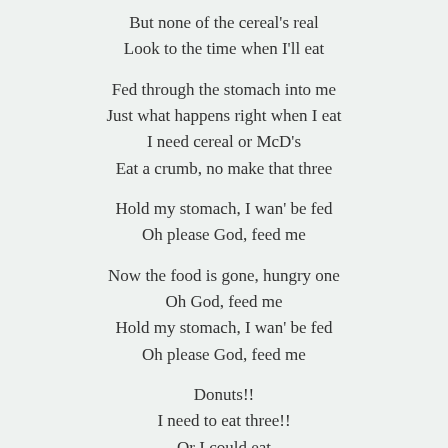But none of the cereal's real
Look to the time when I'll eat
Fed through the stomach into me
Just what happens right when I eat
I need cereal or McD's
Eat a crumb, no make that three
Hold my stomach, I wan' be fed
Oh please God, feed me
Now the food is gone, hungry one
Oh God, feed me
Hold my stomach, I wan' be fed
Oh please God, feed me
Donuts!!
I need to eat three!!
Or I could eat
Absolutely nothing!!
I can't find food!!